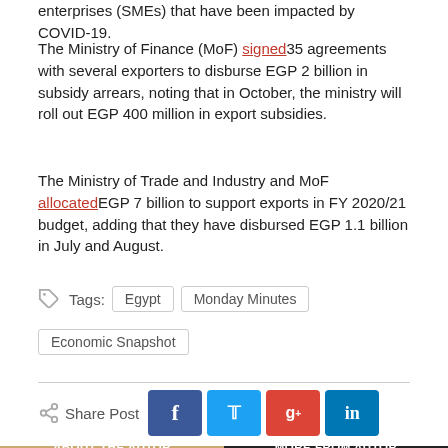enterprises (SMEs) that have been impacted by COVID-19.
The Ministry of Finance (MoF) signed 35 agreements with several exporters to disburse EGP 2 billion in subsidy arrears, noting that in October, the ministry will roll out EGP 400 million in export subsidies.
The Ministry of Trade and Industry and MoF allocated EGP 7 billion to support exports in FY 2020/21 budget, adding that they have disbursed EGP 1.1 billion in July and August.
Tags: Egypt  Monday Minutes  Economic Snapshot
Share Post